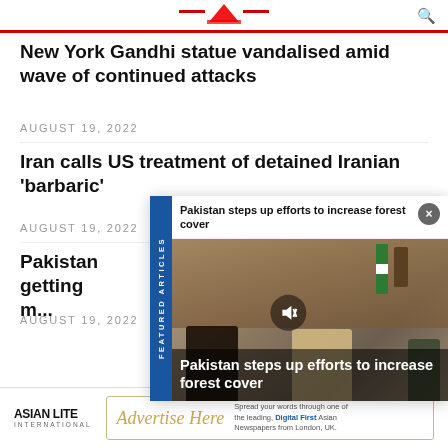Asian Lite International (logo/header bar)
New York Gandhi statue vandalised amid wave of continued attacks
AUGUST 19, 2022
Iran calls US treatment of detained Iranian 'barbaric'
AUGUST 19, 2022
Pakistan getting...
AUGUST 19, 2022
[Figure (screenshot): Featured Articles overlay panel showing 'Pakistan steps up efforts to increase forest cover' with a video thumbnail of people in meeting room, FEATURED ARTICLES side label, mute icon and close button]
ASIAN LITE International | Advertise Here | Spread your words through one of the leading, Digital First Asian Newspapers from London, UK.